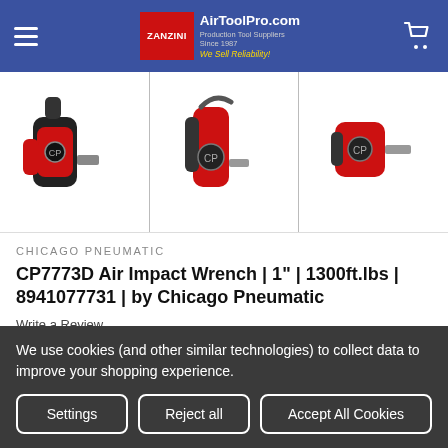AirToolPro.com — Production Tool Suppliers Since 1987 — We Sell Reliability!
[Figure (photo): Three views of the Chicago Pneumatic CP7773D Air Impact Wrench, red and black color, 1 inch drive]
CHICAGO PNEUMATIC
CP7773D Air Impact Wrench | 1" | 1300ft.lbs | 8941077731 | by Chicago Pneumatic
Write a Review
SKU:   8941077731
We use cookies (and other similar technologies) to collect data to improve your shopping experience.